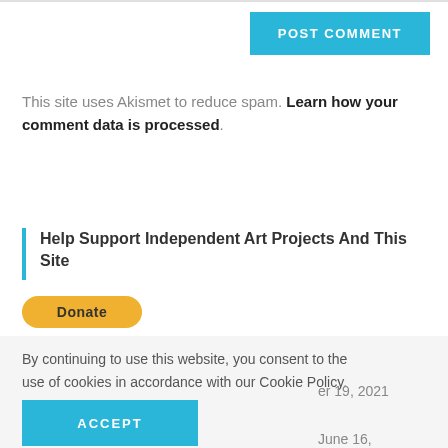[Figure (screenshot): POST COMMENT button — cyan/teal background with white bold uppercase text]
This site uses Akismet to reduce spam. Learn how your comment data is processed.
Help Support Independent Art Projects And This Site
[Figure (screenshot): Donate button — yellow/gold pill-shaped button with bold text 'Donate']
By continuing to use this website, you consent to the use of cookies in accordance with our Cookie Policy.
er 19, 2021
June 16,
[Figure (screenshot): ACCEPT button — cyan/teal background with white bold uppercase text]